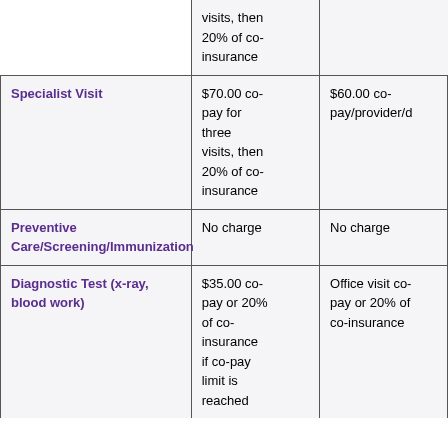| Service | In-Network Cost | Out-of-Network Cost |
| --- | --- | --- |
|  | visits, then 20% of co-insurance |  |
| Specialist Visit | $70.00 co-pay for three visits, then 20% of co-insurance | $60.00 co-pay/provider/d |
| Preventive Care/Screening/Immunization | No charge | No charge |
| Diagnostic Test (x-ray, blood work) | $35.00 co-pay or 20% of co-insurance if co-pay limit is reached | Office visit co-pay or 20% of co-insurance |